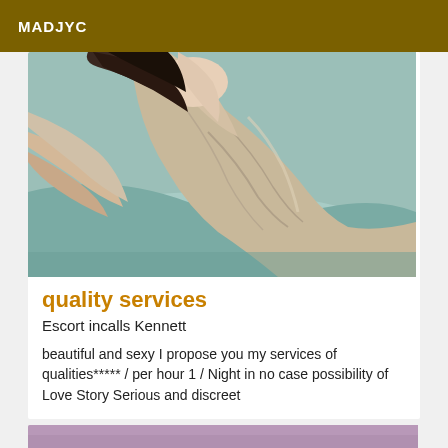MADJYC
[Figure (photo): A person lying down, upper body visible, wearing a beige/tan draped top, dark hair, resting on a light blue/teal surface]
quality services
Escort incalls Kennett
beautiful and sexy I propose you my services of qualities***** / per hour 1 / Night in no case possibility of Love Story Serious and discreet
[Figure (photo): Partial view of another listing image, purple/mauve background, cropped at bottom of page]